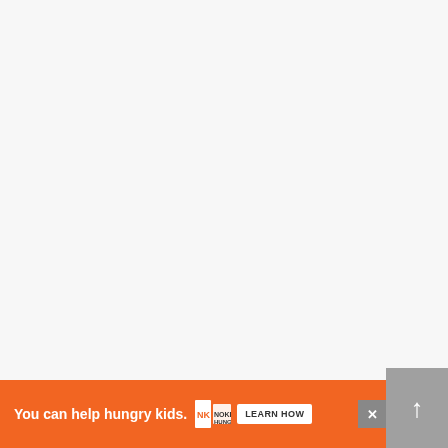[Figure (other): Loading spinner area with three small gray square dots centered on a light gray page background]
Currently, the Michigan safety law does no… m’ion
[Figure (other): Orange advertisement banner reading 'You can help hungry kids.' with No Kid Hungry logo and LEARN HOW button, with a close X button and a gray scroll-up arrow button on the right]